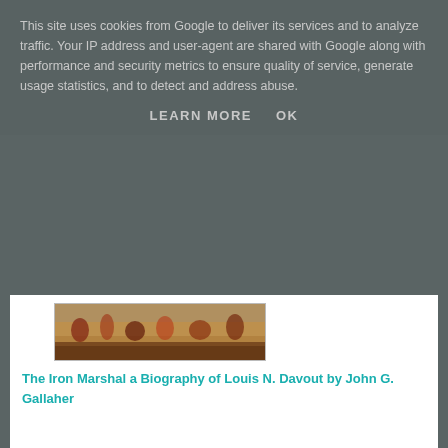This site uses cookies from Google to deliver its services and to analyze traffic. Your IP address and user-agent are shared with Google along with performance and security metrics to ensure quality of service, generate usage statistics, and to detect and address abuse.
LEARN MORE   OK
The Iron Marshal a Biography of Louis N. Davout by John G. Gallaher
1 comment :
Anonymous 6 November 2017 at 15:57